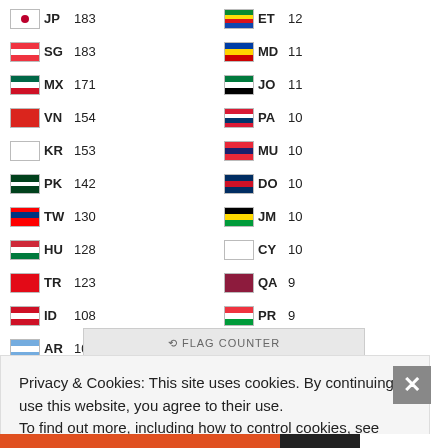| Flag | Code | Count | Flag | Code | Count |
| --- | --- | --- | --- | --- | --- |
| JP | 183 | ET | 12 |
| SG | 183 | MD | 11 |
| MX | 171 | JO | 11 |
| VN | 154 | PA | 10 |
| KR | 153 | MU | 10 |
| PK | 142 | DO | 10 |
| TW | 130 | JM | 10 |
| HU | 128 | CY | 10 |
| TR | 123 | QA | 9 |
| ID | 108 | PR | 9 |
| AR | 106 | TT | 9 |
| BG | 101 | CR | 9 |
| EE | 100 | DZ | 9 |
| TH | 98 | BT | 9 |
| PT | 95 | GI | 9 |
| RS | 88 | GT | 8 |
| BY | 82 | IQ | 7 |
| CO | 82 | AM | 7 |
| HK | 78 | AL | 7 |
| SA | 75 | HN | 7 |
Privacy & Cookies: This site uses cookies. By continuing to use this website, you agree to their use.
To find out more, including how to control cookies, see here:
Cookie Policy
Close and accept